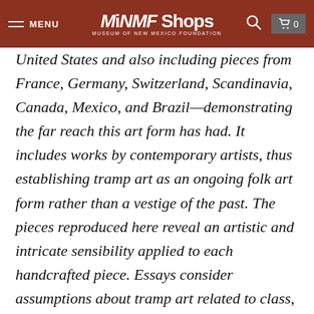MENU | MiNMF Shops | MUSEUM OF NEW MEXICO FOUNDATION
United States and also including pieces from France, Germany, Switzerland, Scandinavia, Canada, Mexico, and Brazil—demonstrating the far reach this art form has had. It includes works by contemporary artists, thus establishing tramp art as an ongoing folk art form rather than a vestige of the past. The pieces reproduced here reveal an artistic and intricate sensibility applied to each handcrafted piece. Essays consider assumptions about tramp art related to class, quality, and the anonymity of its makers and examine this practice through the lens of home and family while tracing its relationship to the tobacco industry. The book will cultivate